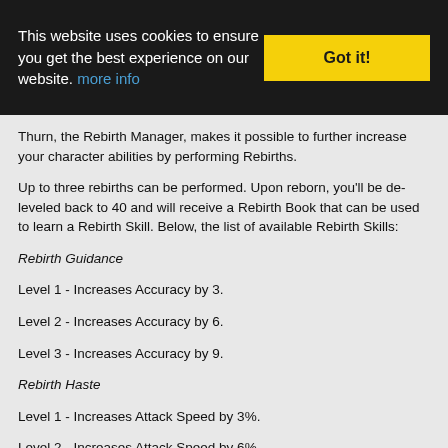This website uses cookies to ensure you get the best experience on our website. more info | Got it!
Thurn, the Rebirth Manager, makes it possible to further increase your character abilities by performing Rebirths.
Up to three rebirths can be performed. Upon reborn, you'll be de-leveled back to 40 and will receive a Rebirth Book that can be used to learn a Rebirth Skill. Below, the list of available Rebirth Skills:
Rebirth Guidance
Level 1 - Increases Accuracy by 3.
Level 2 - Increases Accuracy by 6.
Level 3 - Increases Accuracy by 9.
Rebirth Haste
Level 1 - Increases Attack Speed by 3%.
Level 2 - Increases Attack Speed by 6%.
Level 3 - Increases Attack Speed by 9%.
Rebirth Health
Level 1 - Increases Maximum HP by 3%.
Level 2 - Increases Maximum HP by 6%.
Level 3 - Increases Maximum HP by 9%.